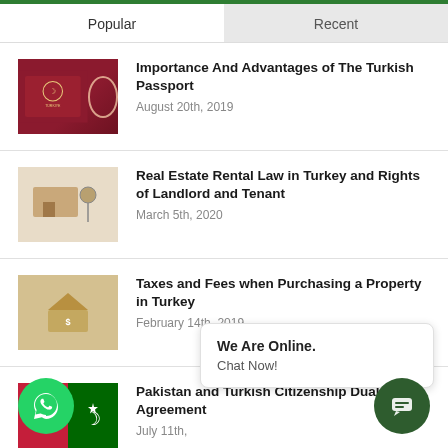Popular
Recent
Importance And Advantages of The Turkish Passport
August 20th, 2019
Real Estate Rental Law in Turkey and Rights of Landlord and Tenant
March 5th, 2020
Taxes and Fees when Purchasing a Property in Turkey
February 14th, 2019
Pakistan and Turkish Citizenship Dual Agreement
July 11th,
We Are Online.
Chat Now!
The New Law to Acquire Turkish Citizenship